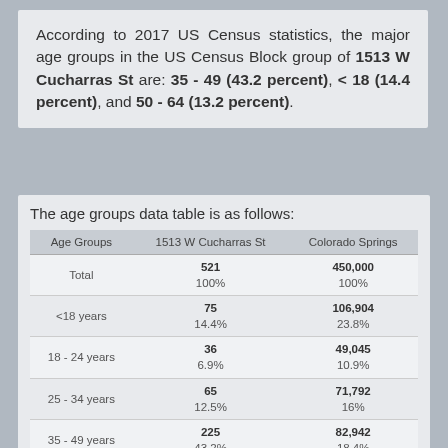According to 2017 US Census statistics, the major age groups in the US Census Block group of 1513 W Cucharras St are: 35 - 49 (43.2 percent), < 18 (14.4 percent), and 50 - 64 (13.2 percent).
The age groups data table is as follows:
| Age Groups | 1513 W Cucharras St | Colorado Springs |
| --- | --- | --- |
| Total | 521
100% | 450,000
100% |
| <18 years | 75
14.4% | 106,904
23.8% |
| 18 - 24 years | 36
6.9% | 49,045
10.9% |
| 25 - 34 years | 65
12.5% | 71,792
16% |
| 35 - 49 years | 225
43.2% | 82,942
18.4% |